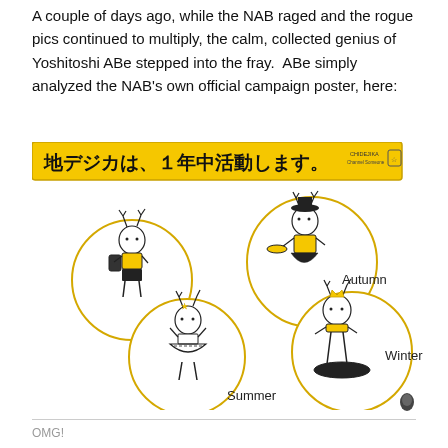A couple of days ago, while the NAB raged and the rogue pics continued to multiply, the calm, collected genius of Yoshitoshi ABe stepped into the fray.  ABe simply analyzed the NAB's own official campaign poster, here:
[Figure (illustration): Official NAB campaign poster showing Japanese text '地デジカは、１年中活動します。' on a yellow banner, followed by four illustrated deer mascot characters in circles labeled Spring, Autumn, Summer, Winter.]
OMG!